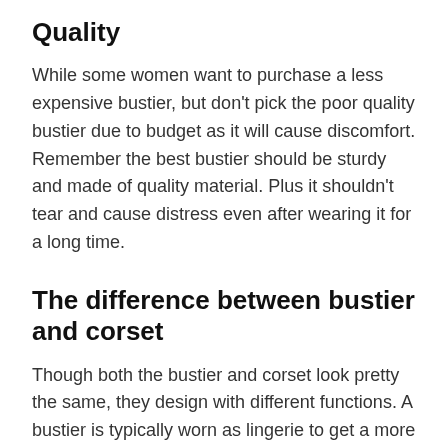Quality
While some women want to purchase a less expensive bustier, but don't pick the poor quality bustier due to budget as it will cause discomfort. Remember the best bustier should be sturdy and made of quality material. Plus it shouldn't tear and cause distress even after wearing it for a long time.
The difference between bustier and corset
Though both the bustier and corset look pretty the same, they design with different functions. A bustier is typically worn as lingerie to get a more bootilicious look.